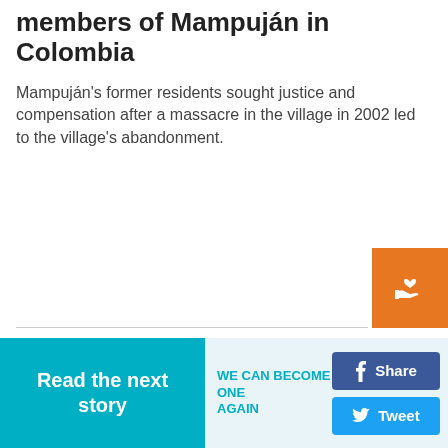Among the displaced community members of Mampuján in Colombia
Mampuján's former residents sought justice and compensation after a massacre in the village in 2002 led to the village's abandonment.
[Figure (photo): Sunset landscape with silhouetted pine trees against a golden sky with dramatic clouds]
Read the next story
WE CAN BECOME ONE AGAIN
Share
Tweet